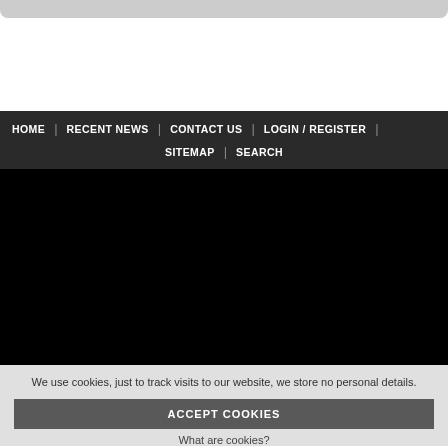[Figure (screenshot): White logo/header area of a website]
HOME | RECENT NEWS | CONTACT US | LOGIN / REGISTER | SITEMAP | SEARCH
[Figure (photo): Black content area / hero image area]
We use cookies, just to track visits to our website, we store no personal details.
ACCEPT COOKIES
What are cookies?